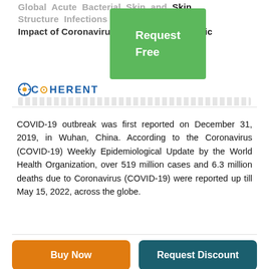Global Acute Bacterial Skin and Skin Structure Infections (ABSSSI) Market – Impact of Coronavirus (COVID-19) Pandemic
[Figure (other): Green popup button overlay with text 'Request Free']
[Figure (logo): Coherent Market Insights logo with blue text and orange dot]
COVID-19 outbreak was first reported on December 31, 2019, in Wuhan, China. According to the Coronavirus (COVID-19) Weekly Epidemiological Update by the World Health Organization, over 519 million cases and 6.3 million deaths due to Coronavirus (COVID-19) were reported up till May 15, 2022, across the globe.